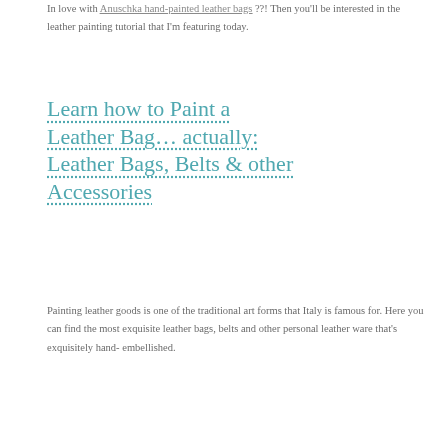In love with Anuschka hand-painted leather bags ??! Then you'll be interested in the leather painting tutorial that I'm featuring today.
Learn how to Paint a Leather Bag... actually: Leather Bags, Belts & other Accessories
Painting leather goods is one of the traditional art forms that Italy is famous for. Here you can find the most exquisite leather bags, belts and other personal leather ware that's exquisitely hand-embellished.